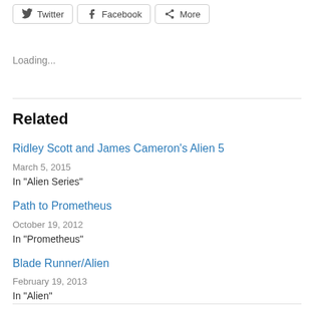Twitter
Facebook
More
Loading...
Related
Ridley Scott and James Cameron’s Alien 5
March 5, 2015
In "Alien Series"
Path to Prometheus
October 19, 2012
In "Prometheus"
Blade Runner/Alien
February 19, 2013
In "Alien"